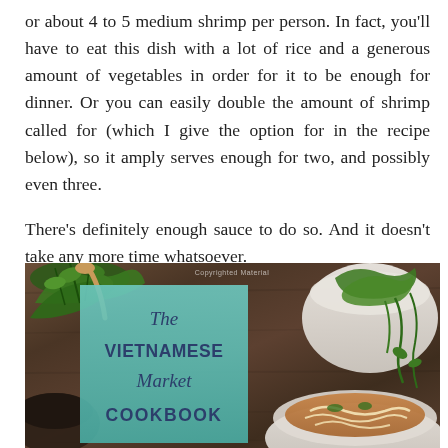or about 4 to 5 medium shrimp per person. In fact, you'll have to eat this dish with a lot of rice and a generous amount of vegetables in order for it to be enough for dinner. Or you can easily double the amount of shrimp called for (which I give the option for in the recipe below), so it amply serves enough for two, and possibly even three.
There's definitely enough sauce to do so. And it doesn't take any more time whatsoever.
[Figure (photo): A food photograph showing a wooden table with fresh herbs, a white bowl containing greens, a bowl of soup (likely Vietnamese pho), and in the foreground a book cover for 'The Vietnamese Market Cookbook' with a teal/turquoise background.]